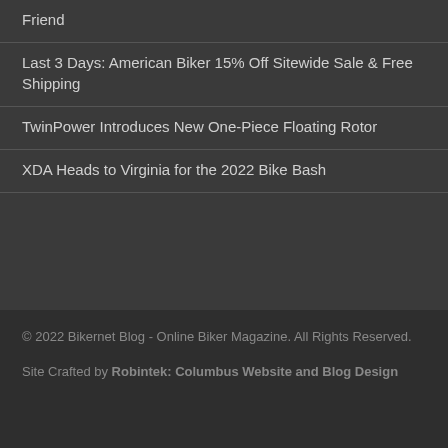Friend
Last 3 Days: American Biker 15% Off Sitewide Sale & Free Shipping
TwinPower Introduces New One-Piece Floating Rotor
XDA Heads to Virginia for the 2022 Bike Bash
© 2022 Bikernet Blog - Online Biker Magazine. All Rights Reserved.

Site Crafted by Robintek: Columbus Website and Blog Design